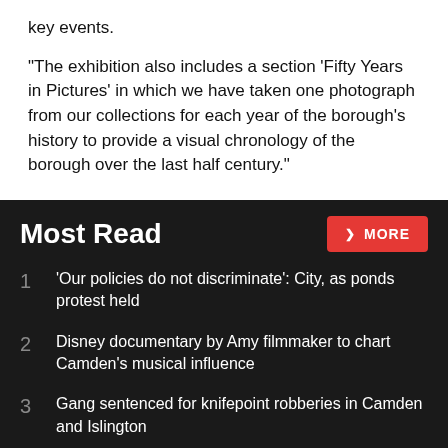key events.
“The exhibition also includes a section ‘Fifty Years in Pictures’ in which we have taken one photograph from our collections for each year of the borough’s history to provide a visual chronology of the borough over the last half century.”
Most Read
1  ‘Our policies do not discriminate’: City, as ponds protest held
2  Disney documentary by Amy filmmaker to chart Camden’s musical influence
3  Gang sentenced for knifepoint robberies in Camden and Islington